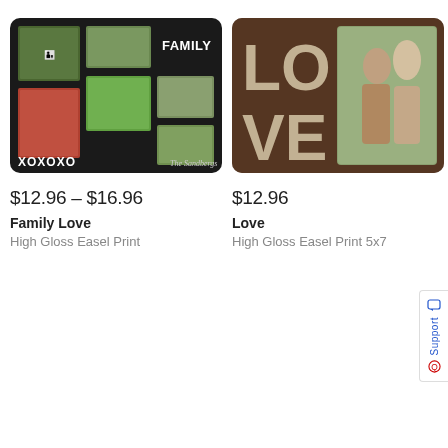[Figure (photo): Family Love product — black photo collage easel print showing multiple family photos with XOXOXO text, FAMILY text, red heart with LOVE, and The Sandbergs signature]
[Figure (photo): Love product — brown burlap-style easel print with large LOVE text and couple photo]
$12.96 – $16.96
$12.96
Family Love
Love
High Gloss Easel Print
High Gloss Easel Print 5x7
[Figure (other): Support tab on right edge with chat icon, Support text, and phone icon]